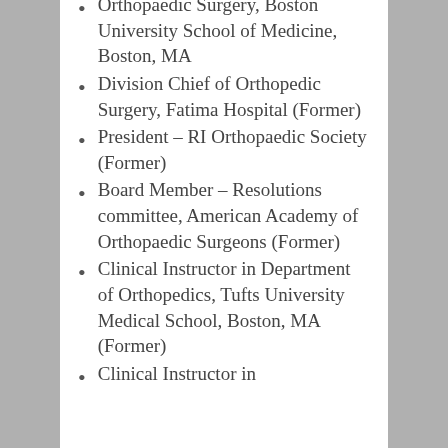Orthopaedic Surgery, Boston University School of Medicine, Boston, MA
Division Chief of Orthopedic Surgery, Fatima Hospital (Former)
President – RI Orthopaedic Society (Former)
Board Member – Resolutions committee, American Academy of Orthopaedic Surgeons (Former)
Clinical Instructor in Department of Orthopedics, Tufts University Medical School, Boston, MA (Former)
Clinical Instructor in